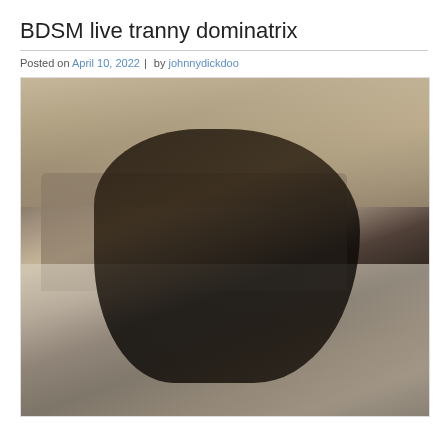BDSM live tranny dominatrix
Posted on April 10, 2022 | by johnnydickdoo
[Figure (photo): A person dressed in black leather BDSM dominatrix outfit lying on a bed, holding a whip, with decorative clocks on the wall behind and Louis Vuitton patterned bedding.]